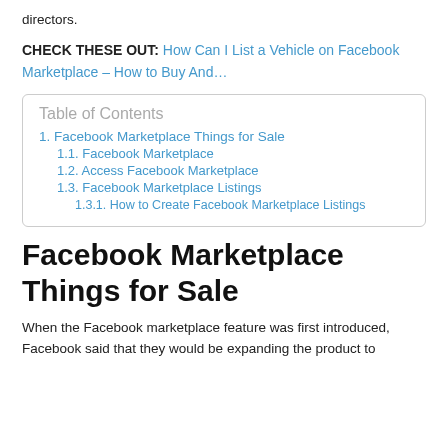directors.
CHECK THESE OUT: How Can I List a Vehicle on Facebook Marketplace – How to Buy And…
| Table of Contents |
| 1. Facebook Marketplace Things for Sale |
| 1.1. Facebook Marketplace |
| 1.2. Access Facebook Marketplace |
| 1.3. Facebook Marketplace Listings |
| 1.3.1. How to Create Facebook Marketplace Listings |
Facebook Marketplace Things for Sale
When the Facebook marketplace feature was first introduced, Facebook said that they would be expanding the product to